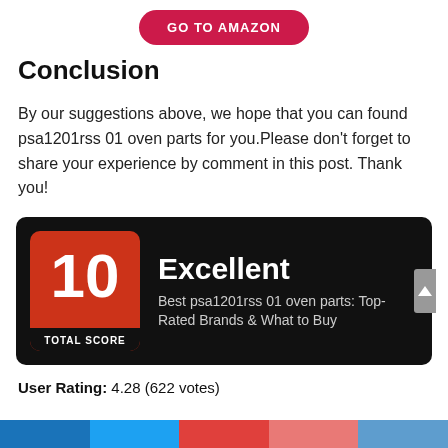[Figure (other): GO TO AMAZON button — red pill-shaped button with white bold text]
Conclusion
By our suggestions above, we hope that you can found psa1201rss 01 oven parts for you.Please don't forget to share your experience by comment in this post. Thank you!
[Figure (infographic): Score card with black background showing a red box with number 10 and TOTAL SCORE label, and text 'Excellent' with subtitle 'Best psa1201rss 01 oven parts: Top-Rated Brands & What to Buy']
User Rating: 4.28 (622 votes)
[Figure (other): Social sharing bar with colored segments at the bottom of the page]